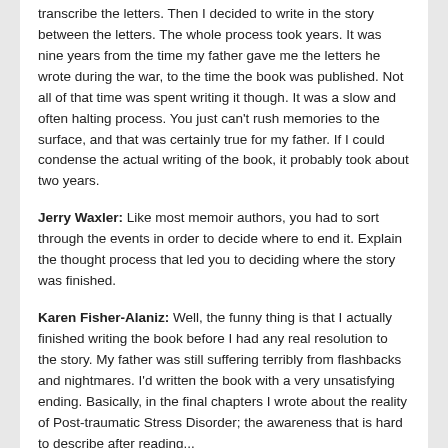transcribe the letters. Then I decided to write in the story between the letters. The whole process took years. It was nine years from the time my father gave me the letters he wrote during the war, to the time the book was published. Not all of that time was spent writing it though. It was a slow and often halting process. You just can't rush memories to the surface, and that was certainly true for my father. If I could condense the actual writing of the book, it probably took about two years.
Jerry Waxler: Like most memoir authors, you had to sort through the events in order to decide where to end it. Explain the thought process that led you to deciding where the story was finished.
Karen Fisher-Alaniz: Well, the funny thing is that I actually finished writing the book before I had any real resolution to the story. My father was still suffering terribly from flashbacks and nightmares. I'd written the book with a very unsatisfying ending. Basically, in the final chapters I wrote about the reality of Post-traumatic Stress Disorder; the awareness that is hard to describe after reading...